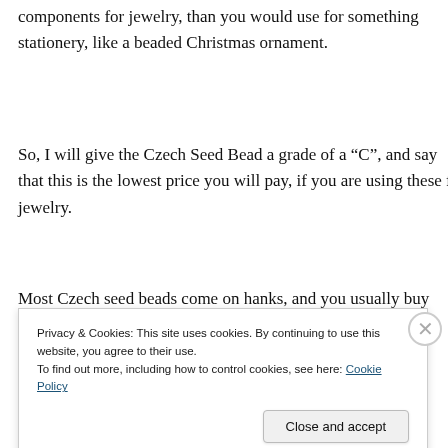components for jewelry, than you would use for something stationery, like a beaded Christmas ornament.
So, I will give the Czech Seed Bead a grade of a “C”, and say that this is the lowest price you will pay, if you are using these for jewelry.
Most Czech seed beads come on hanks, and you usually buy these by the hank. You buy the whole hank. Hanks
Privacy & Cookies: This site uses cookies. By continuing to use this website, you agree to their use.
To find out more, including how to control cookies, see here: Cookie Policy